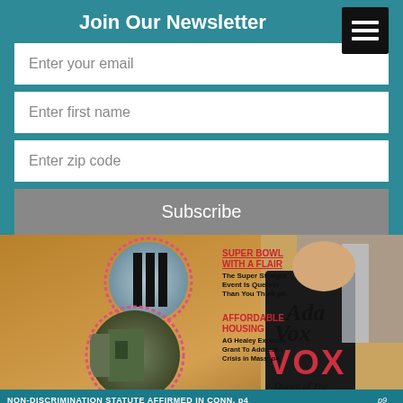Join Our Newsletter
Enter your email
Enter first name
Enter zip code
Subscribe
[Figure (illustration): Magazine cover featuring Ada Vox 'Queen of The Universe', with headlines: 'SUPER BOWL WITH A FLAIR - The Super Straight Event Is Queerer Than You Think p6', 'AFFORDABLE HOUSING - AG Healey Expands Grant To Address Crisis in Mass. p4', bottom banner: 'NON-DISCRIMINATION STATUTE AFFIRMED IN CONN. p4', and a small tag 'p9'. Left side shows circular inset images of a football referee and a dilapidated building. Right side shows a woman in a black dress (Ada Vox).]